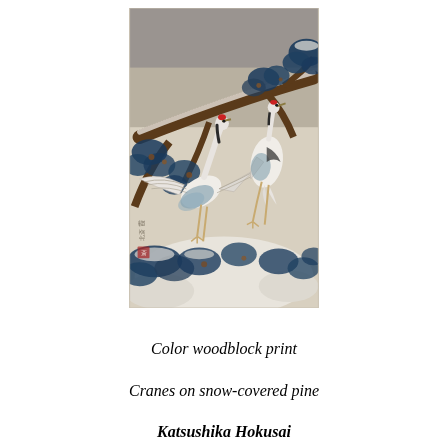[Figure (illustration): Japanese color woodblock print showing two cranes perched on a snow-covered pine tree branch. The cranes are white with black and blue-grey wing markings. The pine branches are dark blue-green with snow on them. The background is a muted grey-beige. The composition is vertical. Japanese characters (artist seal) appear on the left side of the print.]
Color woodblock print
Cranes on snow-covered pine
Katsushika Hokusai
Japan 1829 - 1839